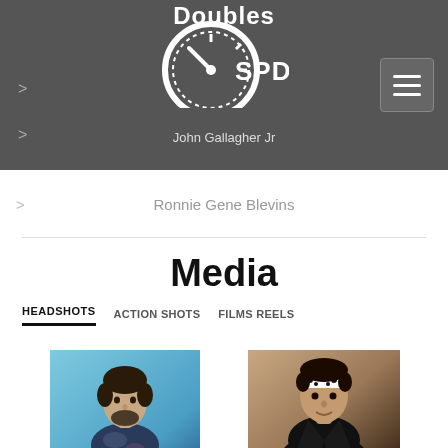Doubles SPD
> John Gallagher Jr
> Ronnie Gene Blevins
Media
HEADSHOTS   ACTION SHOTS   FILMS REELS
[Figure (photo): Headshot of a man in a tie-dye hoodie against a blue background]
[Figure (photo): Headshot of a man in a black jacket wearing a bandana headband, leaning forward]